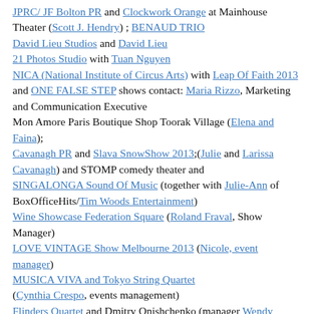JPRC/ JF Bolton PR and Clockwork Orange at Mainhouse Theater (Scott J. Hendry) ; BENAUD TRIO David Lieu Studios and David Lieu 21 Photos Studio with Tuan Nguyen NICA (National Institute of Circus Arts) with Leap Of Faith 2013 and ONE FALSE STEP shows contact: Maria Rizzo, Marketing and Communication Executive Mon Amore Paris Boutique Shop Toorak Village (Elena and Faina); Cavanagh PR and Slava SnowShow 2013;(Julie and Larissa Cavanagh) and STOMP comedy theater and SINGALONGA Sound Of Music (together with Julie-Ann of BoxOfficeHits/Tim Woods Entertainment) Wine Showcase Federation Square (Roland Fraval, Show Manager) LOVE VINTAGE Show Melbourne 2013 (Nicole, event manager) MUSICA VIVA and Tokyo String Quartet (Cynthia Crespo, events management) Flinders Quartet and Dmitry Onishchenko (manager Wendy Avilov)